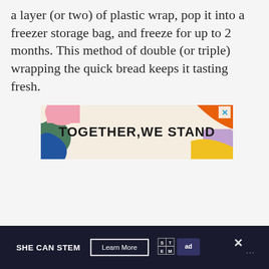a layer (or two) of plastic wrap, pop it into a freezer storage bag, and freeze for up to 2 months. This method of double (or triple) wrapping the quick bread keeps it tasting fresh.
[Figure (infographic): Advertisement banner reading TOGETHER, WE STAND with colorful abstract shapes on left and right sides on a cream background. A small X close button appears in the top right corner.]
[Figure (infographic): Dark footer banner for SHE CAN STEM with a Learn More button, ad council logos, and close X icon.]